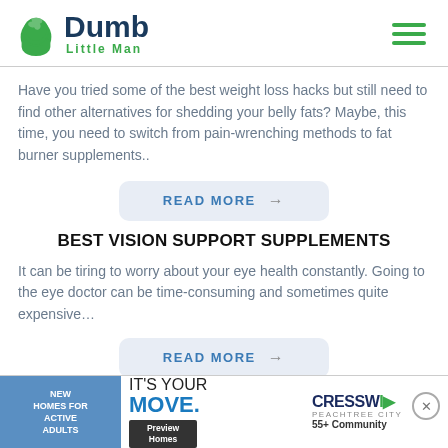Dumb Little Man
Have you tried some of the best weight loss hacks but still need to find other alternatives for shedding your belly fats? Maybe, this time, you need to switch from pain-wrenching methods to fat burner supplements..
READ MORE →
BEST VISION SUPPORT SUPPLEMENTS
It can be tiring to worry about your eye health constantly. Going to the eye doctor can be time-consuming and sometimes quite expensive…
READ MORE →
[Figure (infographic): Advertisement banner: New Homes for Active Adults - Cresswind Peachtree City 55+ Community]